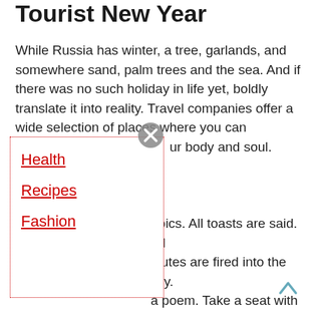Tourist New Year
While Russia has winter, a tree, garlands, and somewhere sand, palm trees and the sea. And if there was no such holiday in life yet, boldly translate it into reality. Travel companies offer a wide selection of places where you can ...ur body and soul.
Health
Recipes
Fashion
...opics. All toasts are said. All alutes are fired into the sky. a poem. Take a seat with the h one in a line suggests the eral poem. Not rhyming? ale. New family tale for next